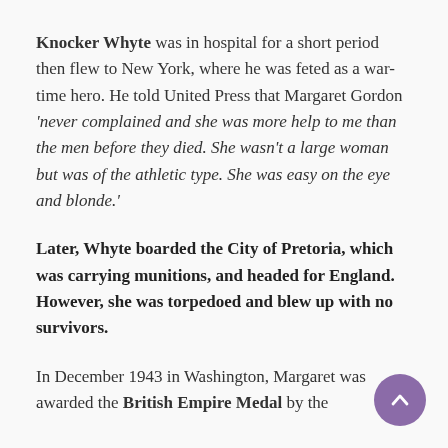Knocker Whyte was in hospital for a short period then flew to New York, where he was feted as a war-time hero. He told United Press that Margaret Gordon 'never complained and she was more help to me than the men before they died. She wasn't a large woman but was of the athletic type. She was easy on the eye and blonde.'
Later, Whyte boarded the City of Pretoria, which was carrying munitions, and headed for England. However, she was torpedoed and blew up with no survivors.
In December 1943 in Washington, Margaret was awarded the British Empire Medal by the